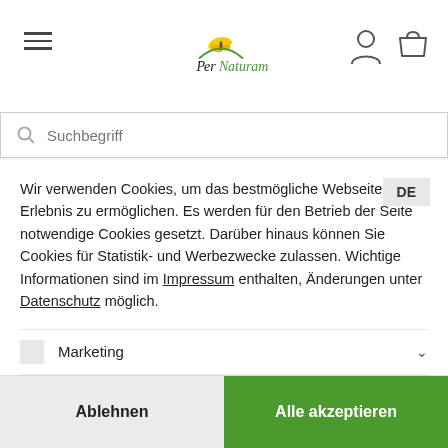[Figure (logo): PerNaturam logo with butterfly and green arc]
Wir verwenden Cookies, um das bestmögliche Webseiten-Erlebnis zu ermöglichen. Es werden für den Betrieb der Seite notwendige Cookies gesetzt. Darüber hinaus können Sie Cookies für Statistik- und Werbezwecke zulassen. Wichtige Informationen sind im Impressum enthalten, Änderungen unter Datenschutz möglich.
Marketing
Funktional
✓ Essenziell
Ablehnen
Alle akzeptieren